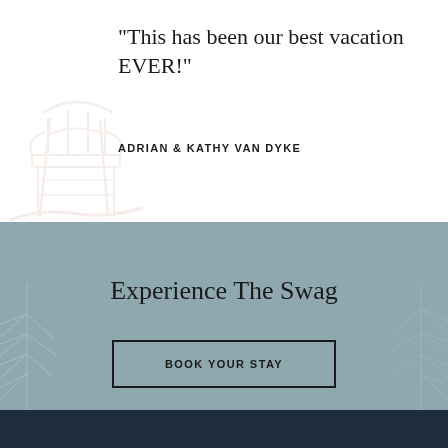“This has been our best vacation EVER!”
ADRIAN & KATHY VAN DYKE
[Figure (illustration): Light pink/beige sketch of a wooden rocking chair, decorative illustration in background]
Experience The Swag
BOOK YOUR STAY